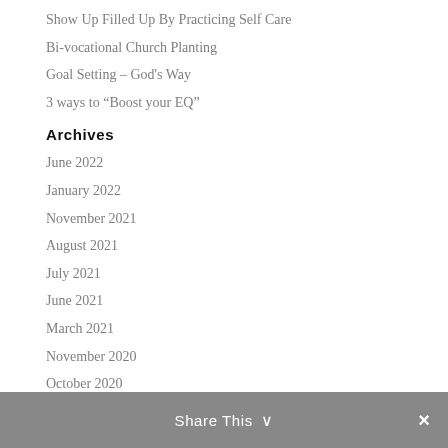Show Up Filled Up By Practicing Self Care
Bi-vocational Church Planting
Goal Setting – God's Way
3 ways to “Boost your EQ”
Archives
June 2022
January 2022
November 2021
August 2021
July 2021
June 2021
March 2021
November 2020
October 2020
August 2020
June 2020
Share This ∨ ×